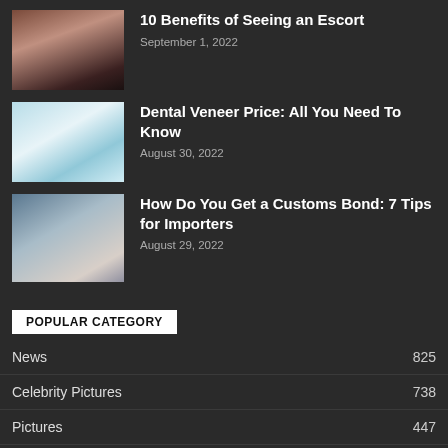10 Benefits of Seeing an Escort
September 1, 2022
Dental Veneer Price: All You Need To Know
August 30, 2022
How Do You Get a Customs Bond: 7 Tips for Importers
August 29, 2022
POPULAR CATEGORY
News 825
Celebrity Pictures 738
Pictures 447